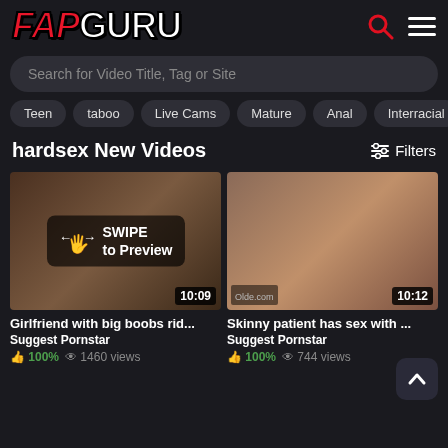[Figure (logo): FapGuru logo with red italic FAP and white GURU text, plus search and menu icons]
Search for Video Title, Tag or Site
Teen
taboo
Live Cams
Mature
Anal
Interracial
hardsex New Videos
[Figure (screenshot): Video thumbnail showing two people, with SWIPE to Preview overlay and 10:09 duration badge]
[Figure (screenshot): Video thumbnail showing two people on couch with 10:12 duration badge]
Girlfriend with big boobs rid...
Skinny patient has sex with ...
Suggest Pornstar
Suggest Pornstar
100%  1460 views
100%  744 views